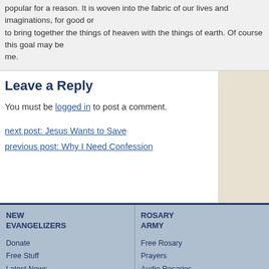popular for a reason. It is woven into the fabric of our lives and imaginations, for good or to bring together the things of heaven with the things of earth. Of course this goal may be me.
Leave a Reply
You must be logged in to post a comment.
next post: Jesus Wants to Save
previous post: Why I Need Confession
NEW EVANGELIZERS
Donate
Free Stuff
Latest News
Statement of Faith
Privacy Policy
About
ROSARY ARMY
Free Rosary
Prayers
Audio Rosaries
How to Make Rosaries
Rosary Making Supplies
Donate Rosaries
Rosary Submission Requirements
©2011-2022. New Evangelizers, Inc.